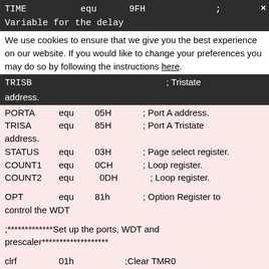TIME    equ    9FH    ; Variable for the delay
We use cookies to ensure that we give you the best experience on our website. If you would like to change your preferences you may do so by following the instructions here.
TRISB    ; Tristate address.
PORTA    equ    05H    ; Port A address.
TRISA    equ    85H    ; Port A Tristate address.
STATUS    equ    03H    ; Page select register.
COUNT1    equ    0CH    ; Loop register.
COUNT2    equ    0DH    ; Loop register.

OPT    equ    81h    ; Option Register to control the WDT

;*************Set up the ports, WDT and prescaler*******************

clrf    01h    ;Clear TMR0
bsf    STATUS,5    ;Switch to bank 1
clrwdt        ;reset the WDT and prescaler
movlw    b'1101'    ;Select the new prescaler value and assign
movwf    OPT    ;it to WDT

movlw 00H    ; Now set up the ports